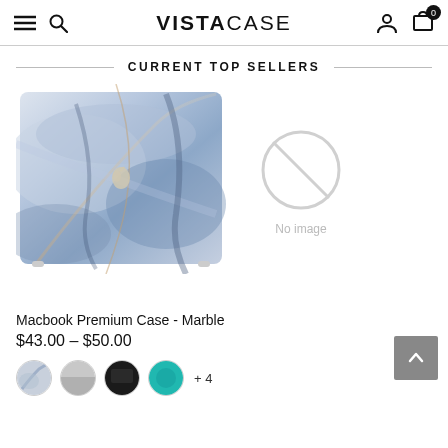VISTACASE
CURRENT TOP SELLERS
[Figure (photo): Macbook laptop with a marble-patterned case — blue, grey, and gold marble texture visible on the lid with Apple logo showing]
[Figure (other): No image placeholder icon — a grey circle with a diagonal line through it, labelled 'No image']
Macbook Premium Case - Marble
$43.00 – $50.00
[Figure (other): Four color swatch thumbnails (marble, grey, black, teal/green) followed by '+ 4' text indicating additional color options]